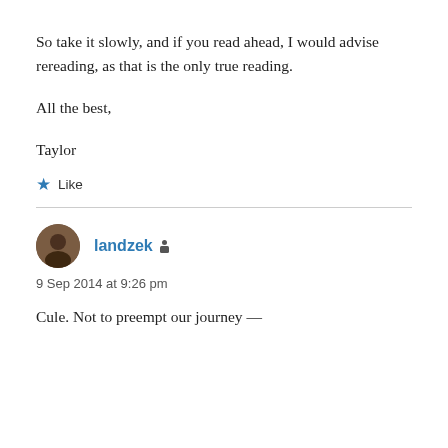So take it slowly, and if you read ahead, I would advise rereading, as that is the only true reading.
All the best,
Taylor
★ Like
landzek • 9 Sep 2014 at 9:26 pm
Cule. Not to preempt our journey —